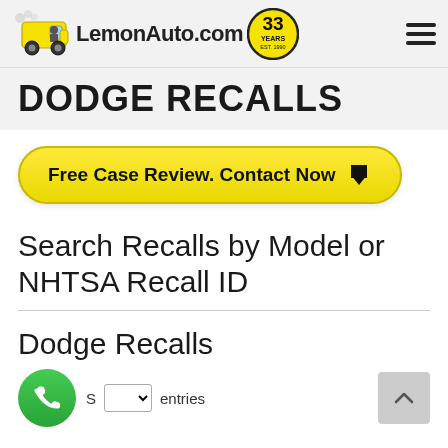[Figure (logo): LemonAuto.com logo with yellow cartoon truck and '33 Years' badge]
DODGE RECALLS
[Figure (infographic): Yellow rounded button with text 'Free Case Review. Contact Now' and download arrow icon]
Search Recalls by Model or NHTSA Recall ID
Dodge Recalls
S entries
[Figure (infographic): Green circular phone/call button (bottom left)]
[Figure (infographic): Gray scroll-to-top button with up arrow (bottom right)]